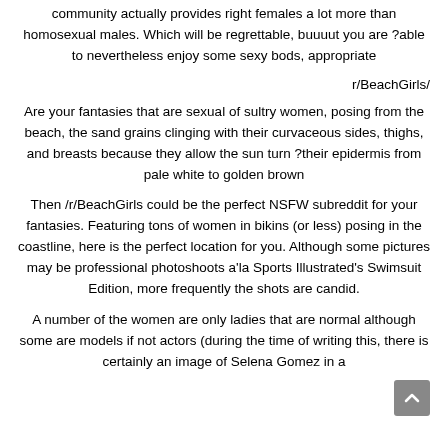community actually provides right females a lot more than homosexual males. Which will be regrettable, buuuut you are ?able to nevertheless enjoy some sexy bods, appropriate
r/BeachGirls/
Are your fantasies that are sexual of sultry women, posing from the beach, the sand grains clinging with their curvaceous sides, thighs, and breasts because they allow the sun turn ?their epidermis from pale white to golden brown
Then /r/BeachGirls could be the perfect NSFW subreddit for your fantasies. Featuring tons of women in bikins (or less) posing in the coastline, here is the perfect location for you. Although some pictures may be professional photoshoots a'la Sports Illustrated's Swimsuit Edition, more frequently the shots are candid.
A number of the women are only ladies that are normal although some are models if not actors (during the time of writing this, there is certainly an image of Selena Gomez in a